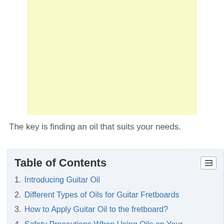[Figure (other): Light yellow advertisement or placeholder box]
The key is finding an oil that suits your needs.
Table of Contents
1. Introducing Guitar Oil
2. Different Types of Oils for Guitar Fretboards
3. How to Apply Guitar Oil to the fretboard?
4. Safety Precautions When Using Oils on Your Guitar